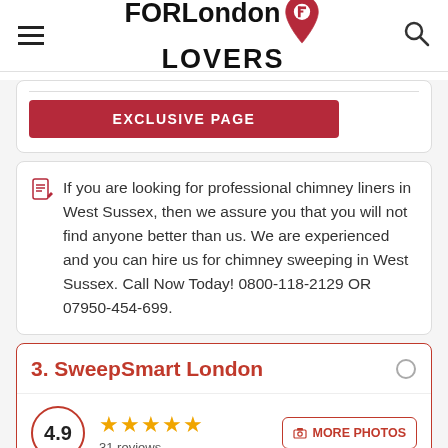FORLondon LOVERS
EXCLUSIVE PAGE
If you are looking for professional chimney liners in West Sussex, then we assure you that you will not find anyone better than us. We are experienced and you can hire us for chimney sweeping in West Sussex. Call Now Today! 0800-118-2129 OR 07950-454-699.
3. SweepSmart London
4.9
31 reviews
MORE PHOTOS